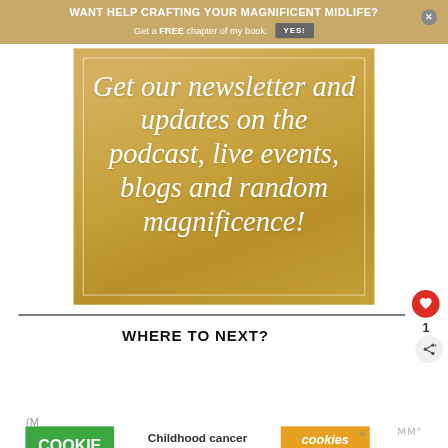WANT HELP CRAFTING YOUR MAGNIFICENT MIDLIFE? Get a FREE chapter of my book. YES!
[Figure (illustration): Gold/tan background image with keyboard and envelope, containing white italic text: 'Get our newsletter and updates on the podcast, live events, blogs and random magnificence!' with a white border rectangle]
WHERE TO NEXT?
[Figure (infographic): Cookie Dough ad banner: 'Childhood cancer didn't stop for COVID-19. GET BAKING' with cookies for kids cancer logo]